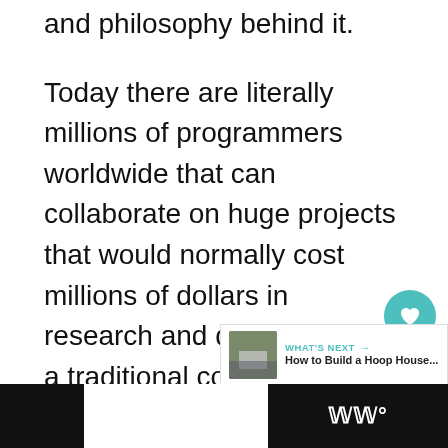and philosophy behind it.
Today there are literally millions of programmers worldwide that can collaborate on huge projects that would normally cost millions of dollars in research and development if a traditional company were to try to produce the same kind of software program. Having the “source code” publicly available makes it very easy for people to cooperate and share ideas on how to make it work better. This simply works better than any other model.
[Figure (screenshot): UI overlay with heart/like button showing count 1, share button, and a 'What's Next' card showing 'How to Build a Hoop House...']
[Figure (screenshot): Page footer bar with dark left and right sections and a logo watermark on the right]